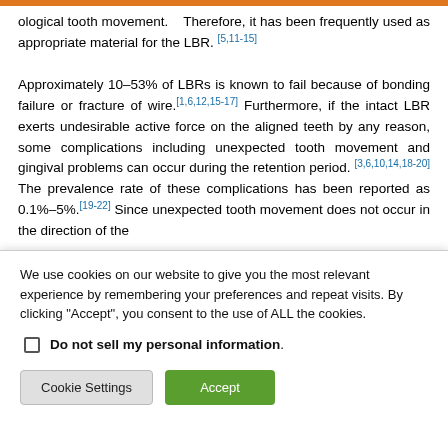...physiological tooth movement. ... Therefore, it has been frequently used as appropriate material for the LBR. [5,11-15]
Approximately 10–53% of LBRs is known to fail because of bonding failure or fracture of wire.[1,6,12,15-17] Furthermore, if the intact LBR exerts undesirable active force on the aligned teeth by any reason, some complications including unexpected tooth movement and gingival problems can occur during the retention period.[3,6,10,14,18-20] The prevalence rate of these complications has been reported as 0.1%–5%.[19-22] Since unexpected tooth movement does not occur in the direction of the
We use cookies on our website to give you the most relevant experience by remembering your preferences and repeat visits. By clicking "Accept", you consent to the use of ALL the cookies.
Do not sell my personal information.